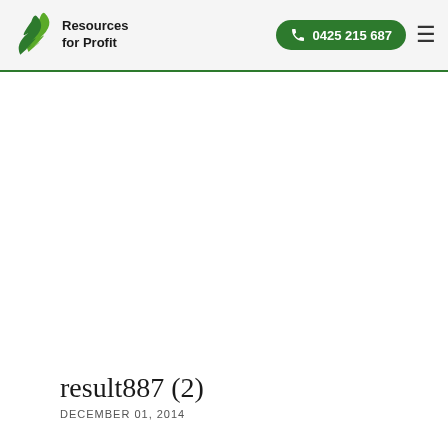Resources for Profit | 0425 215 687
result887 (2)
DECEMBER 01, 2014